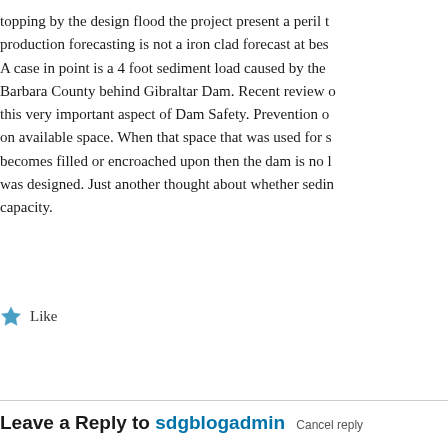topping by the design flood the project present a peril t... production forecasting is not a iron clad forecast at bes... A case in point is a 4 foot sediment load caused by the... Barbara County behind Gibraltar Dam. Recent review o... this very important aspect of Dam Safety. Prevention o... on available space. When that space that was used for s... becomes filled or encroached upon then the dam is no l... was designed. Just another thought about whether sedir... capacity.
Like
Reply
Leave a Reply to sdgblogadmin Cancel reply
Enter your comment here...